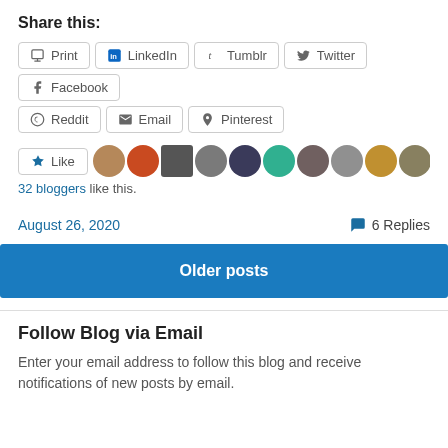Share this:
Print | LinkedIn | Tumblr | Twitter | Facebook
Reddit | Email | Pinterest
[Figure (other): Like button with star icon and a row of 11 blogger avatar thumbnails]
32 bloggers like this.
August 26, 2020 · 6 Replies
Older posts
Follow Blog via Email
Enter your email address to follow this blog and receive notifications of new posts by email.